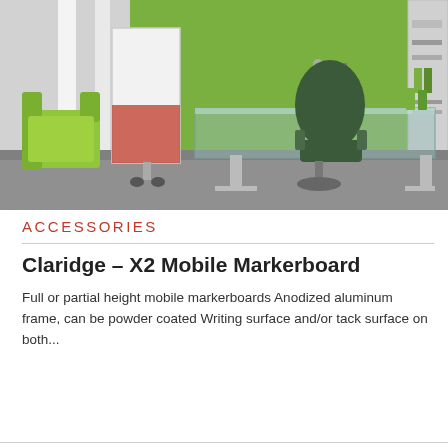[Figure (photo): Office scene with a white mobile markerboard/partition on wheels in the foreground, a green accent wall, a glass desk with a dark green ergonomic chair, a green lounge chair on the left, shelving on the right, and a desk lamp.]
ACCESSORIES
Claridge – X2 Mobile Markerboard
Full or partial height mobile markerboards Anodized aluminum frame, can be powder coated Writing surface and/or tack surface on both...